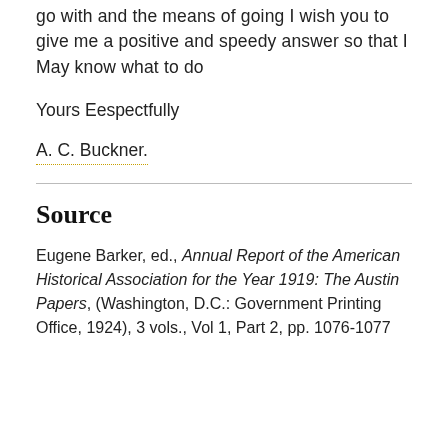go with and the means of going I wish you to give me a positive and speedy answer so that I May know what to do
Yours Eespectfully
A. C. Buckner.
Source
Eugene Barker, ed., Annual Report of the American Historical Association for the Year 1919: The Austin Papers, (Washington, D.C.: Government Printing Office, 1924), 3 vols., Vol 1, Part 2, pp. 1076-1077